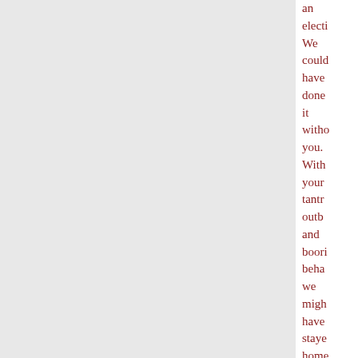an election We could have done it without you. With your tantrum outburst and boorish behavior we might have stayed home for this